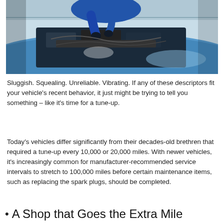[Figure (photo): A mechanic in a blue shirt working under the hood of a blue vehicle, shown from above with car engine components visible.]
Sluggish. Squealing. Unreliable. Vibrating. If any of these descriptors fit your vehicle's recent behavior, it just might be trying to tell you something – like it's time for a tune-up.
Today's vehicles differ significantly from their decades-old brethren that required a tune-up every 10,000 or 20,000 miles. With newer vehicles, it's increasingly common for manufacturer-recommended service intervals to stretch to 100,000 miles before certain maintenance items, such as replacing the spark plugs, should be completed.
A Shop that Goes the Extra Mile